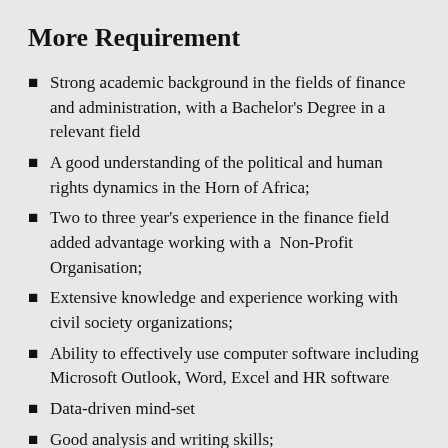More Requirement
Strong academic background in the fields of finance and administration, with a Bachelor's Degree in a relevant field
A good understanding of the political and human rights dynamics in the Horn of Africa;
Two to three year's experience in the finance field added advantage working with a  Non-Profit Organisation;
Extensive knowledge and experience working with civil society organizations;
Ability to effectively use computer software including Microsoft Outlook, Word, Excel and HR software
Data-driven mind-set
Good analysis and writing skills;
Excellent command of English and excellent communication skills